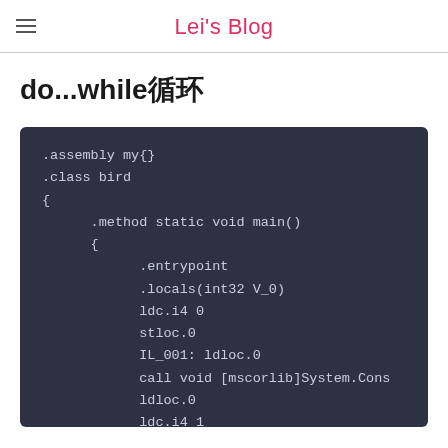Lei's Blog
do...while循环
[Figure (screenshot): Code block showing CIL/MSIL assembly language code with dark background. Code includes .assembly my{}, .class bird, .method static void main(), .entrypoint, .locals(int32 V_0), ldc.i4 0, stloc.0, IL_001: ldloc.0, call void [mscorlib]System.Cons, ldloc.0, ldc.i4 1]